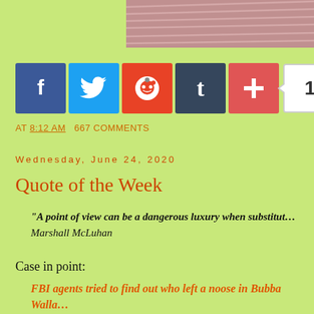[Figure (photo): Partial header image showing a running track with pink/red tint and bold text 'GEOR' visible on the right]
[Figure (infographic): Social media share buttons: Facebook (blue), Twitter (blue), Reddit (orange), Tumblr (dark blue), More/Plus (red), and a share count badge showing '16']
AT 8:12 AM   667 COMMENTS
Wednesday, June 24, 2020
Quote of the Week
“A point of view can be a dangerous luxury when substitut... Marshall McLuhan
Case in point:
FBI agents tried to find out who left a noose in Bubba Walla... stock car series was left reeling and angered by the racist a... banned the Confederate flag on its properties at Wallace's ... the person responsible, but the investigation was in its ear...